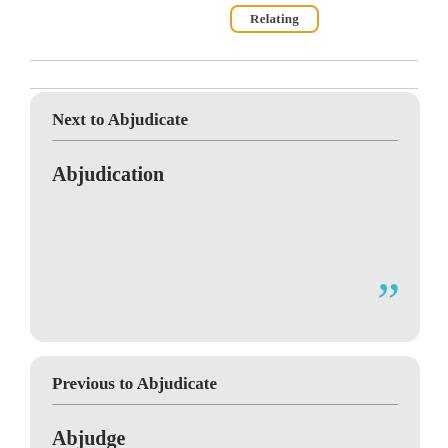Relating
Next to Abjudicate
Abjudication
Previous to Abjudicate
Abjudge